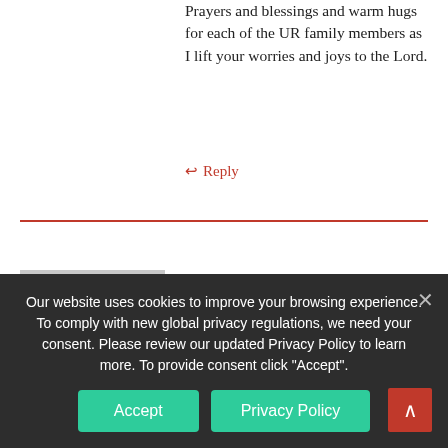Prayers and blessings and warm hugs for each of the UR family members as I lift your worries and joys to the Lord.
↵ Reply
Lou | Posted February 7, 2019 | 11:25 am
[Figure (illustration): Generic grey avatar silhouette of a person]
Prayers for all here today- thankful for the blessing of eternal life and the love of Jesus – Prayers especially for Jill and her family.
I'm also thankful that Rusty is back- I really appreciate his contributions- as well as all who
Our website uses cookies to improve your browsing experience. To comply with new global privacy regulations, we need your consent. Please review our updated Privacy Policy to learn more. To provide consent click "Accept".